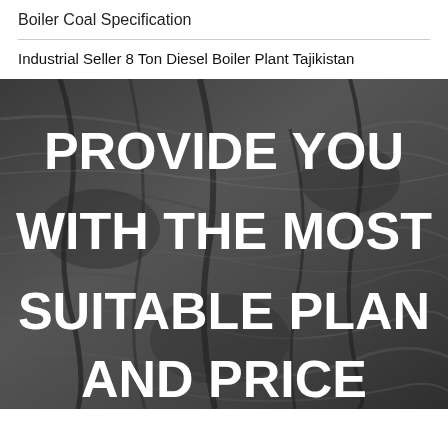Boiler Coal Specification
Industrial Seller 8 Ton Diesel Boiler Plant Tajikistan
[Figure (photo): Dark coal/rock texture background with large white bold text overlaid reading 'PROVIDE YOU WITH THE MOST SUITABLE PLAN AND PRICE']
PROVIDE YOU WITH THE MOST SUITABLE PLAN AND PRICE